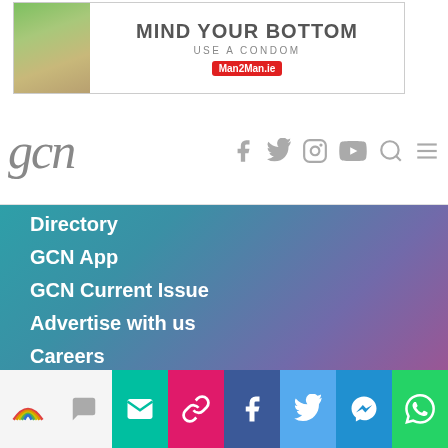[Figure (screenshot): Ad banner for Man2Man.ie: MIND YOUR BOTTOM / USE A CONDOM]
gcn
Directory
GCN App
GCN Current Issue
Advertise with us
Careers
Contact Us
GCN Privacy Policy
Social share bar with icons: email, link, Facebook, Twitter, Messenger, WhatsApp